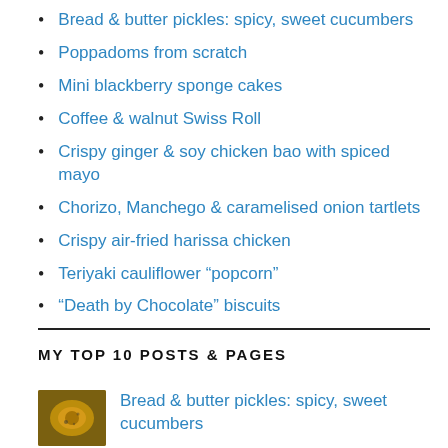Bread & butter pickles: spicy, sweet cucumbers
Poppadoms from scratch
Mini blackberry sponge cakes
Coffee & walnut Swiss Roll
Crispy ginger & soy chicken bao with spiced mayo
Chorizo, Manchego & caramelised onion tartlets
Crispy air-fried harissa chicken
Teriyaki cauliflower “popcorn”
“Death by Chocolate” biscuits
MY TOP 10 POSTS & PAGES
Bread & butter pickles: spicy, sweet cucumbers